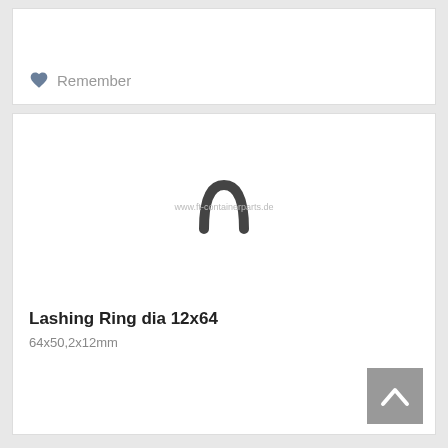[Figure (other): Heart/remember button row at bottom of a product card]
Remember
[Figure (photo): Product image of a Lashing Ring dia 12x64, showing a dark metal D-ring/lashing ring. Watermark text: www.ft-containerparts.de]
Lashing Ring dia 12x64
64x50,2x12mm